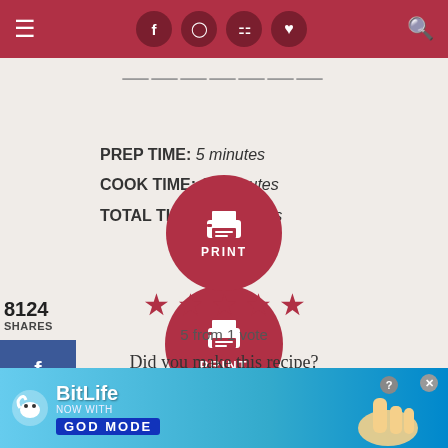Navigation bar with hamburger menu, social icons (Facebook, Instagram, Pinterest, Heart), and search icon
PREP TIME: 5 minutes
COOK TIME: 20 minutes
TOTAL TIME: 25 minutes
[Figure (other): Red circular Print button with printer icon and PRINT label]
[Figure (other): 5 red stars rating display]
5 from 1 vote
Did you make this recipe?
LEAVE A REVIEW >
[Figure (other): BitLife advertisement banner with GOD MODE promotion]
8124 SHARES
[Figure (other): Social share buttons: Facebook (blue), Twitter (cyan), Pinterest (red)]